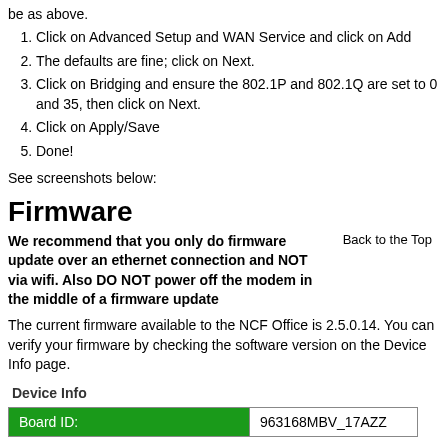be as above.
1. Click on Advanced Setup and WAN Service and click on Add
2. The defaults are fine; click on Next.
3. Click on Bridging and ensure the 802.1P and 802.1Q are set to 0 and 35, then click on Next.
4. Click on Apply/Save
5. Done!
See screenshots below:
Firmware
We recommend that you only do firmware update over an ethernet connection and NOT via wifi. Also DO NOT power off the modem in the middle of a firmware update
Back to the Top
The current firmware available to the NCF Office is 2.5.0.14. You can verify your firmware by checking the software version on the Device Info page.
Device Info
| Board ID: | 963168MBV_17AZZ |
| --- | --- |